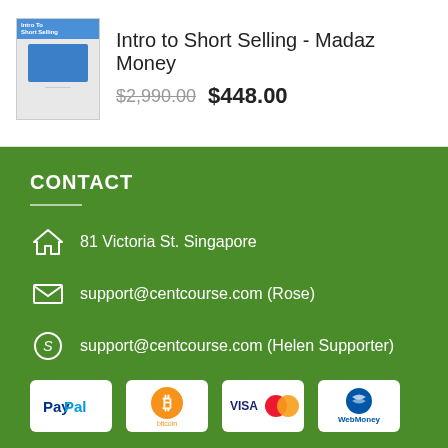[Figure (illustration): Product thumbnail image for Intro to Short Selling course book/material]
Intro to Short Selling - Madaz Money
$2,990.00  $448.00
CONTACT
81 Victoria St. Singapore
support@centcourse.com (Rose)
support@centcourse.com (Helen Supporter)
[Figure (logo): PayPal payment logo]
[Figure (logo): Bitcoin payment logo]
[Figure (logo): VISA Mastercard payment logo]
[Figure (logo): WebMoney payment logo]